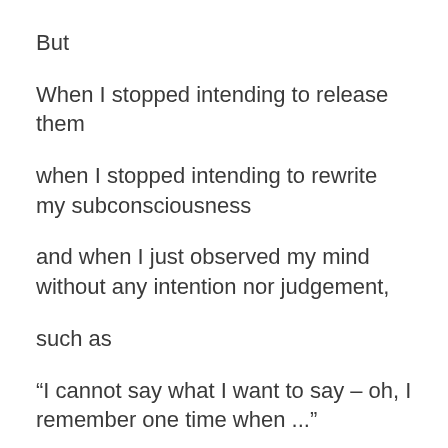But
When I stopped intending to release them
when I stopped intending to rewrite my subconsciousness
and when I just observed my mind without any intention nor judgement,
such as
“I cannot say what I want to say – oh, I remember one time when ...”
“I cannot make myself understood well – oh, I